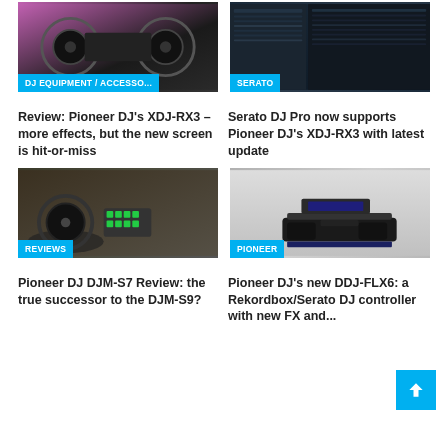[Figure (photo): Pioneer DJ XDJ-RX3 controller photo with pink/purple lighting]
DJ EQUIPMENT / ACCESSO...
Review: Pioneer DJ's XDJ-RX3 – more effects, but the new screen is hit-or-miss
[Figure (screenshot): Serato DJ Pro software screenshot showing dark interface with track library]
SERATO
Serato DJ Pro now supports Pioneer DJ's XDJ-RX3 with latest update
[Figure (photo): Pioneer DJ DJM-S7 mixer on a DJ setup with turntables and green pad buttons]
REVIEWS
Pioneer DJ DJM-S7 Review: the true successor to the DJM-S9?
[Figure (photo): Pioneer DJ DDJ-FLX6 controller on grey background]
PIONEER
Pioneer DJ's new DDJ-FLX6: a Rekordbox/Serato DJ controller with new FX and...